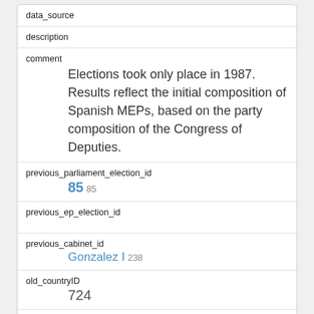| Field | Value |
| --- | --- |
| data_source |  |
| description |  |
| comment | Elections took only place in 1987. Results reflect the initial composition of Spanish MEPs, based on the party composition of the Congress of Deputies. |
| previous_parliament_election_id | 85 85 |
| previous_ep_election_id |  |
| previous_cabinet_id | Gonzalez I 238 |
| old_countryID | 724 |
| old_parlID | 1019860 |
kid